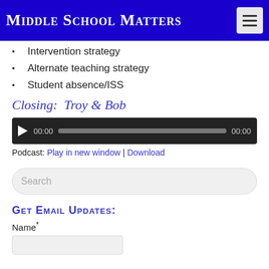Middle School Matters
Intervention strategy
Alternate teaching strategy
Student absence/ISS
Closing:  Troy & Bob
[Figure (other): Audio player widget with play button, time display 00:00, progress bar, and end time 00:00]
Podcast: Play in new window | Download
Search
GET EMAIL UPDATES:
Name*